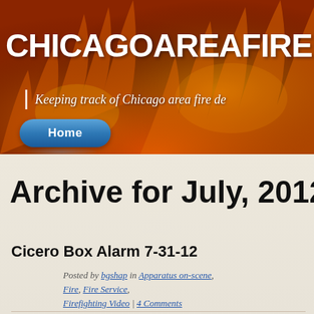[Figure (photo): Website banner with fire/flame background image for ChicagoAreaFire.com]
CHICAGOAREAFIRE.COM
Keeping track of Chicago area fire de
Home
Archive for July, 2012
Cicero Box Alarm 7-31-12
JUL 31 — Posted by bgshap in Apparatus on-scene, Fire, Fire Service, Firefighting Video | 4 Comments